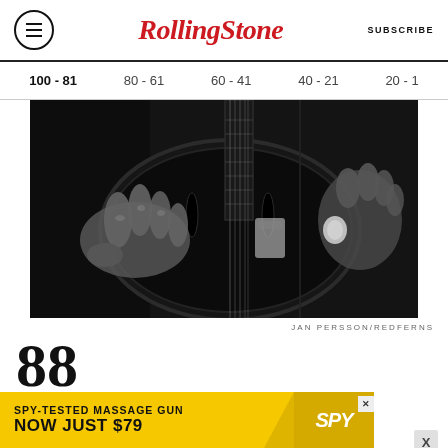Rolling Stone — SUBSCRIBE
100 - 81
80 - 61
60 - 41
40 - 21
20 - 1
[Figure (photo): Black and white close-up photo of hands playing a hollow-body electric guitar, showing both fretting and picking hands]
JAN PERSSON/REDFERNS
88
Carl Perkins
In the Beatles' early days, George Harrison briefly
[Figure (other): Advertisement: SPY-TESTED MASSAGE GUN NOW JUST $79 with SPY logo on yellow background]